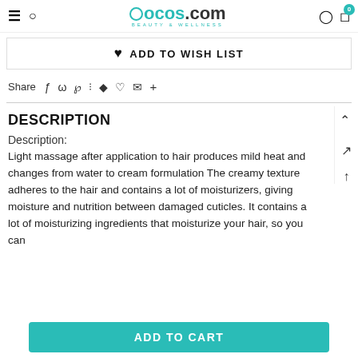OCOS.com BEAUTY & WELLNESS
ADD TO WISH LIST
Share
DESCRIPTION
Description:
Light massage after application to hair produces mild heat and changes from water to cream formulation The creamy texture adheres to the hair and contains a lot of moisturizers, giving moisture and nutrition between damaged cuticles. It contains a lot of moisturizing ingredients that moisturize your hair, so you can
ADD TO CART